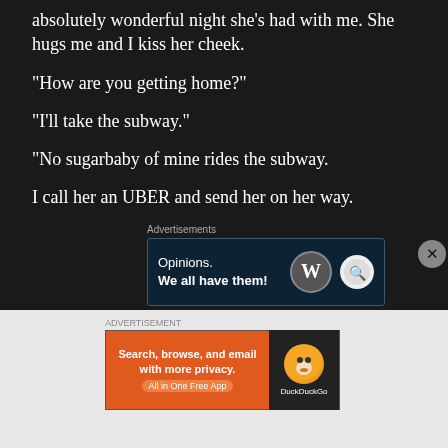absolutely wonderful night she’s had with me. She hugs me and I kiss her cheek.
“How are you getting home?”
“I’ll take the subway.”
“No sugarbaby of mine rides the subway.
I call her an UBER and send her on her way.
Advertisements
[Figure (other): WordPress/Opinionate advertisement banner: 'Opinions. We all have them!' with WordPress logo and circular badge]
ADVERTISEMENT
[Figure (other): DuckDuckGo advertisement banner: 'Search, browse, and email with more privacy. All in One Free App' with DuckDuckGo logo]